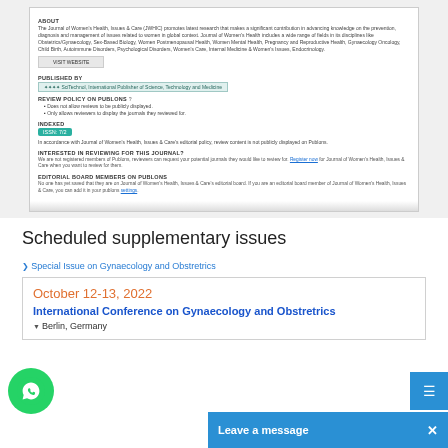[Figure (screenshot): Screenshot of a journal information page for Journal of Women's Health, Issues & Care (JWHIC), showing About section, Visit Website button, Published By section with SciTechnol badge, Review Policy on Publons section with bullet points, Indexed section with ISSN badge, and editorial board interest section.]
Scheduled supplementary issues
Special Issue on Gynaecology and Obstretrics
October 12-13, 2022
International Conference on Gynaecology and Obstretrics
Berlin, Germany